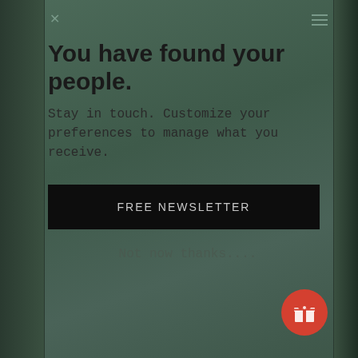You have found your people.
Stay in touch. Customize your preferences to manage what you receive.
FREE NEWSLETTER
Not now thanks....
[Figure (illustration): Red circular gift icon button in the bottom right corner]